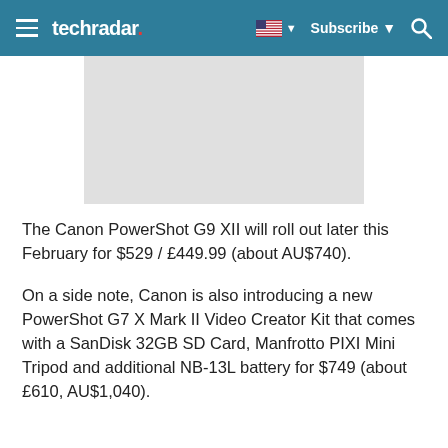techradar — Subscribe
[Figure (photo): Light gray image placeholder rectangle, partially cropped at top]
The Canon PowerShot G9 XII will roll out later this February for $529 / £449.99 (about AU$740).
On a side note, Canon is also introducing a new PowerShot G7 X Mark II Video Creator Kit that comes with a SanDisk 32GB SD Card, Manfrotto PIXI Mini Tripod and additional NB-13L battery for $749 (about £610, AU$1,040).